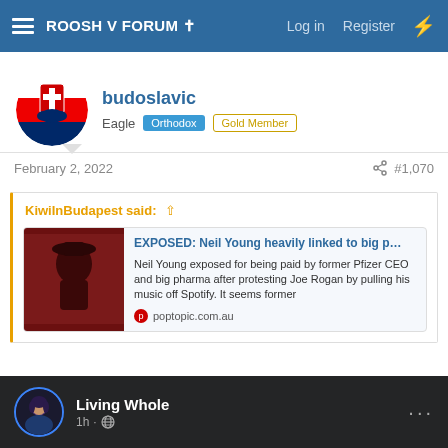ROOSH V FORUM ✝  Log in  Register
budoslavic
Eagle  Orthodox  Gold Member
February 2, 2022  #1,070
KiwiInBudapest said: ↑
EXPOSED: Neil Young heavily linked to big p...
Neil Young exposed for being paid by former Pfizer CEO and big pharma after protesting Joe Rogan by pulling his music off Spotify. It seems former
poptopic.com.au
[Figure (screenshot): Facebook post preview showing 'Living Whole' page with avatar, 1h · public globe icon, and three-dot menu]
Living Whole
1h · 🌐